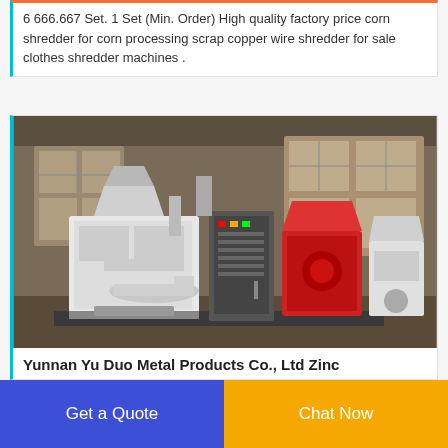6 666.667 Set. 1 Set (Min. Order) High quality factory price corn shredder for corn processing scrap copper wire shredder for sale clothes shredder machines .
[Figure (photo): Industrial machine setup in a warehouse/factory setting. Large white and red processing equipment including what appears to be a copper wire shredding/separating machine system with control panel, on a platform.]
Yunnan Yu Duo Metal Products Co., Ltd Zinc
Get a Quote
Chat Now